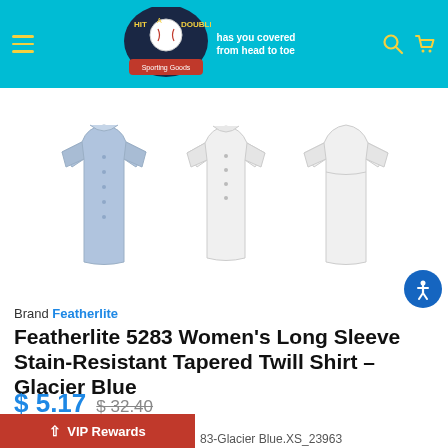Hit A Double Sporting Goods – has you covered from head to toe
[Figure (photo): Three views of the Featherlite 5283 Women's Long Sleeve Stain-Resistant Tapered Twill Shirt in Glacier Blue: front view (blue), front view (white), back view (white)]
Brand Featherlite
Featherlite 5283 Women's Long Sleeve Stain-Resistant Tapered Twill Shirt – Glacier Blue
$ 5.17  $ 32.40
You save: 84% ($ 27.23)
83-Glacier Blue.XS_23963